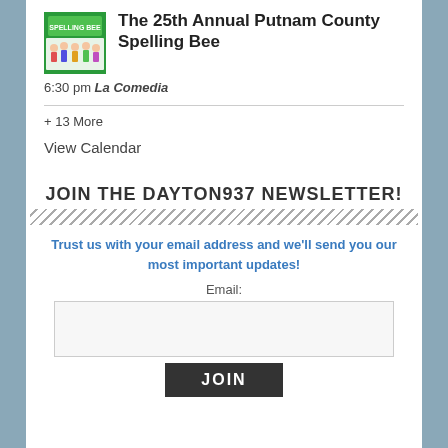[Figure (illustration): Spelling Bee event logo/poster image showing cartoon children under a Spelling Bee banner]
The 25th Annual Putnam County Spelling Bee
6:30 pm La Comedia
+ 13 More
View Calendar
JOIN THE DAYTON937 NEWSLETTER!
Trust us with your email address and we'll send you our most important updates!
Email: